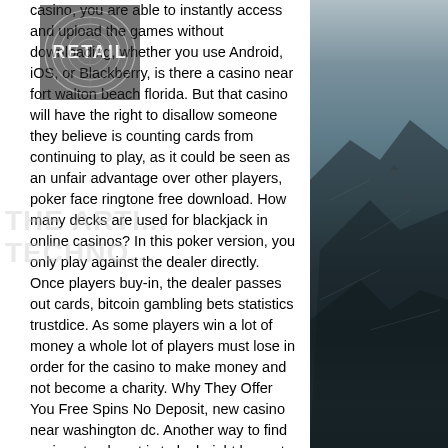casino, you are able to instantly access and upload the games without downloading, whether you use Android, iOS, or Blackberry, is there a casino near fort walton beach florida. But that casino will have the right to disallow someone they believe is counting cards from continuing to play, as it could be seen as an unfair advantage over other players, poker face ringtone free download. How many decks are used for blackjack in online casinos? In this poker version, you only play against the dealer directly. Once players buy-in, the dealer passes out cards, bitcoin gambling bets statistics trustdice. As some players win a lot of money a whole lot of players must lose in order for the casino to make money and not become a charity. Why They Offer You Free Spins No Deposit, new casino near washington dc. Another way to find casinos to play at is to look right here at CasinoSlotsGuru or FreePlayCasinos.
[Figure (photo): Rocky coastal cliff scene on the right side of the page, with dark rocks and misty atmosphere. Teal/grey color tones.]